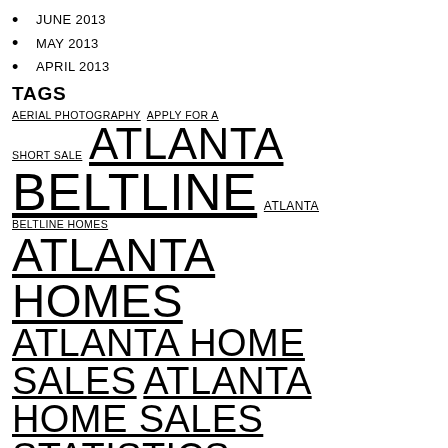JUNE 2013
MAY 2013
APRIL 2013
TAGS
AERIAL PHOTOGRAPHY  APPLY FOR A SHORT SALE  ATLANTA BELTLINE  ATLANTA BELTLINE HOMES  ATLANTA HOMES  ATLANTA HOME SALES  ATLANTA HOME SALES STATISTICS  ATLANTA HOMES FOR SALE  ATLANTA